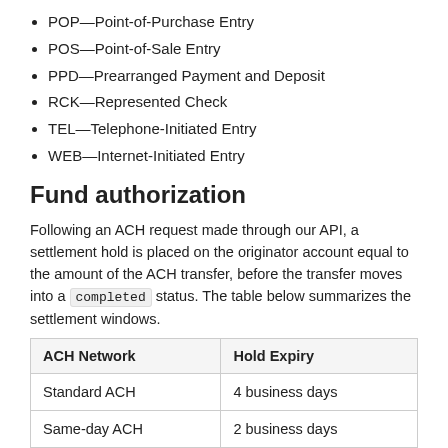POP—Point-of-Purchase Entry
POS—Point-of-Sale Entry
PPD—Prearranged Payment and Deposit
RCK—Represented Check
TEL—Telephone-Initiated Entry
WEB—Internet-Initiated Entry
Fund authorization
Following an ACH request made through our API, a settlement hold is placed on the originator account equal to the amount of the ACH transfer, before the transfer moves into a completed status. The table below summarizes the settlement windows.
| ACH Network | Hold Expiry |
| --- | --- |
| Standard ACH | 4 business days |
| Same-day ACH | 2 business days |